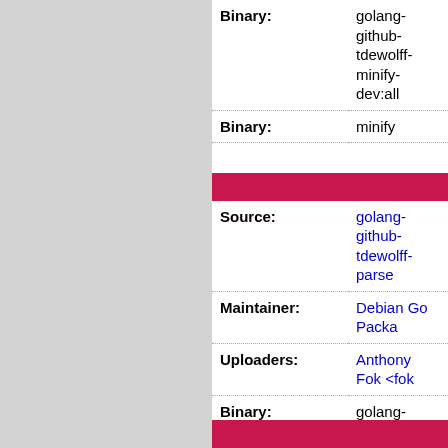| Binary: | golang-github-tdewolff-minify-dev:all |
| Binary: | minify |
| Source: | golang-github-tdewolff-parse |
| Maintainer: | Debian Go Packa... |
| Uploaders: | Anthony Fok <fok... |
| Binary: | golang-github-tdewolff-parse-dev:all |
| Source: | golang-github-tdewolff-test |
| Maintainer: | Debian Go Packa... |
| Uploaders: | Anthony Fok <fok... |
| Binary: | golang-github-tdewolff-test-dev:a... |